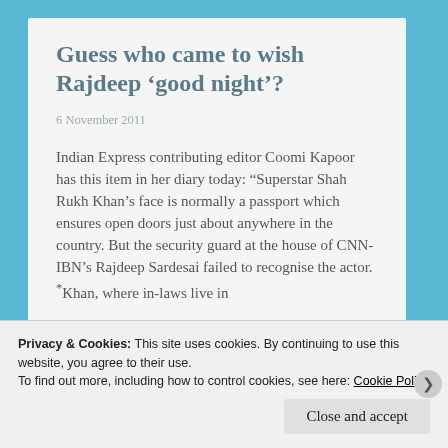Guess who came to wish Rajdeep ‘good night’?
6 November 2011
Indian Express contributing editor Coomi Kapoor has this item in her diary today: “Superstar Shah Rukh Khan’s face is normally a passport which ensures open doors just about anywhere in the country. But the security guard at the house of CNN-IBN’s Rajdeep Sardesai failed to recognise the actor. “Khan, who are in-laws live in
Privacy & Cookies: This site uses cookies. By continuing to use this website, you agree to their use.
To find out more, including how to control cookies, see here: Cookie Policy